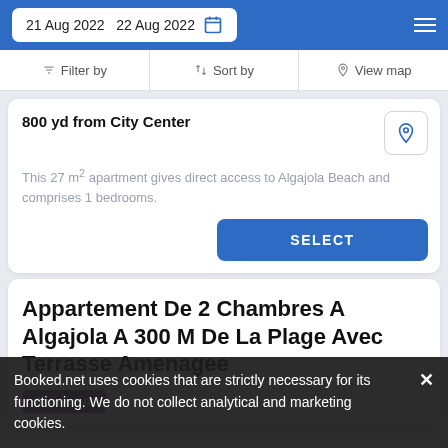21 Aug 2022  22 Aug 2022
Filter by  Sort by  View map
800 yd from City Center
This 27 m² apartment gives direct access to Algajola Beach and comprises 1 bedrooms.
SELECT
Appartement De 2 Chambres A Algajola A 300 M De La Plage Avec Terrasse Amenagee
Apartment
Booked.net uses cookies that are strictly necessary for its functioning. We do not collect analytical and marketing cookies.